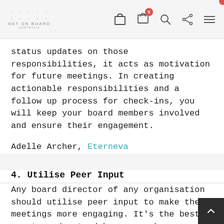GET ON BOARD AUSTRALIA
status updates on those responsibilities, it acts as motivation for future meetings. In creating actionable responsibilities and a follow up process for check-ins, you will keep your board members involved and ensure their engagement.
Adelle Archer, Eterneva
4. Utilise Peer Input
Any board director of any organisation should utilise peer input to make their meetings more engaging. It's the best way to understand how can make improvements and make these meetings